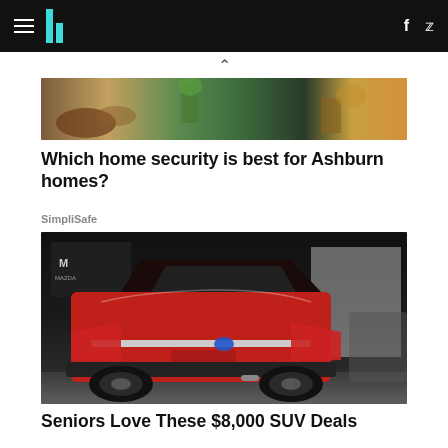HuffPost navigation bar with hamburger menu, logo, social icons (f, Twitter)
[Figure (photo): Advertisement banner image showing food items and patio/outdoor furniture scene]
Which home security is best for Ashburn homes?
SimpliSafe
[Figure (photo): Red Toyota RAV4 SUV photographed from behind at an auto show with Mazda signage in background]
Seniors Love These $8,000 SUV Deals